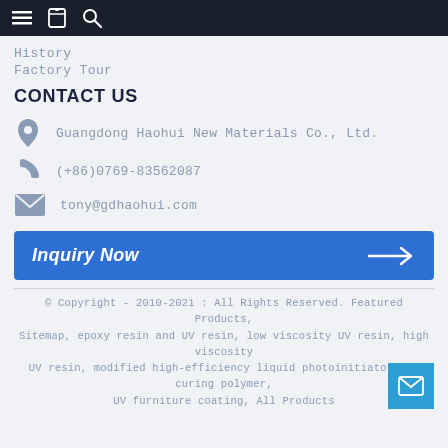Navigation bar with menu, bookmark, and search icons
History
Factory Tour
CONTACT US
Guangdong Haohui New Materials Co., Ltd.
(+86)0769-83562087
tony@gdhaohui.com
Inquiry Now →
© Copyright - 2010-2021 : All Rights Reserved. Featured Products, Sitemap, epoxy resin and UV resin, low viscosity UV resin, high viscosity UV resin, modified high-efficiency liquid photoinitiator, UV curing polymer, UV furniture coating, All Products